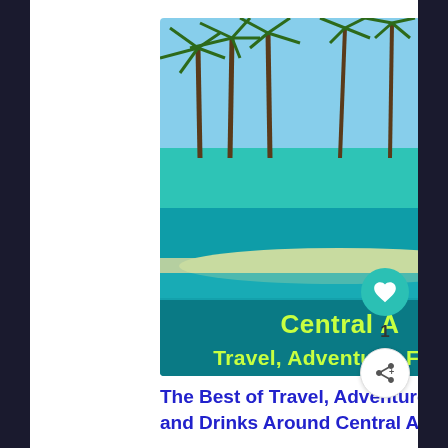[Figure (photo): Tropical Caribbean beach with palm trees and turquoise water, with text overlay reading 'Central A' and 'Travel, Adventure, Food,' on a teal background at the bottom]
The Best of Travel, Adventure, Food, and Drinks Around Central America
[Figure (photo): Lush green jungle scene with a cave or rock formation and waterfall, mossy rocks in foreground]
Blindly Swimming Our...